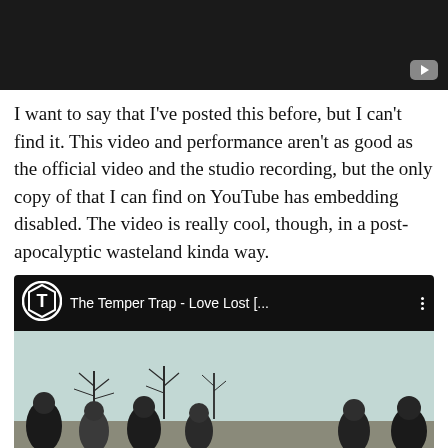[Figure (screenshot): YouTube video embed showing dark/black screen with YouTube play button icon in bottom right corner]
I want to say that I've posted this before, but I can't find it. This video and performance aren't as good as the official video and the studio recording, but the only copy of that I can find on YouTube has embedding disabled. The video is really cool, though, in a post-apocalyptic wasteland kinda way.
[Figure (screenshot): YouTube video embed showing The Temper Trap - Love Lost [... with channel logo (T in hexagon shape) on black bar header, and a photo of people/crowd outdoors with bare trees and grey sky below]